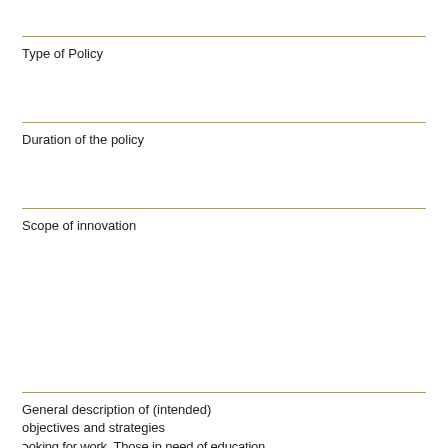Type of Policy
Duration of the policy
Scope of innovation
General description of (intended) objectives and strategies
ooking for work. Those in need of education
Nature of the innovation-short-term perspective
Nature of the innovation-long-term